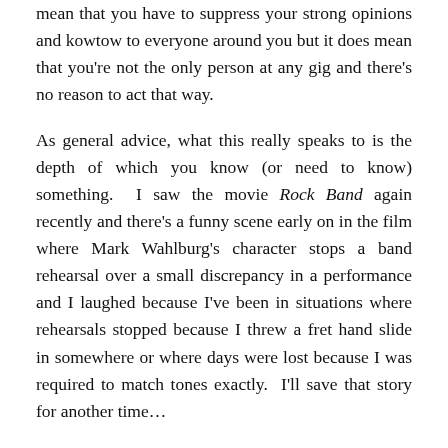mean that you have to suppress your strong opinions and kowtow to everyone around you but it does mean that you're not the only person at any gig and there's no reason to act that way.
As general advice, what this really speaks to is the depth of which you know (or need to know) something.  I saw the movie Rock Band again recently and there's a funny scene early on in the film where Mark Wahlburg's character stops a band rehearsal over a small discrepancy in a performance and I laughed because I've been in situations where rehearsals stopped because I threw a fret hand slide in somewhere or where days were lost because I was required to match tones exactly.  I'll save that story for another time…
In the meantime – thanks for reading.